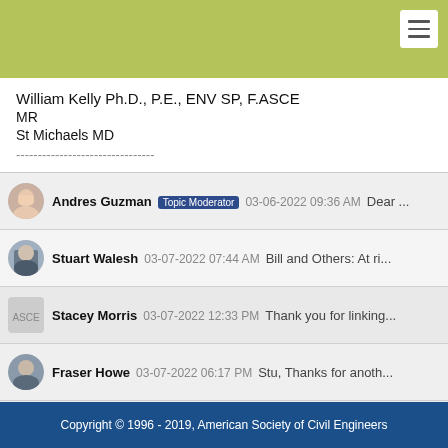William Kelly Ph.D., P.E., ENV SP, F.ASCE
MR
St Michaels MD
--------------------------------
Andres Guzman  Topic Moderator  03-06-2022 09:36 AM  Dear ...
Stuart Walesh  03-07-2022 07:44 AM  Bill and Others: At ri...
Stacey Morris  03-07-2022 12:33 PM  Thank you for linking...
Fraser Howe  03-07-2022 06:17 PM  Stu, Thanks for anoth...
Dudley McFadden  03-07-2022 06:18 PM  It is certainly wo...
Dilip Barua  03-11-2022 03:04 PM  Following the thought of...
Copyright © 1996 - 2019, American Society of Civil Engineers